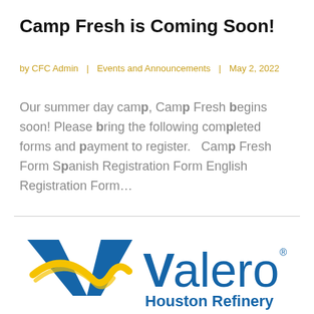Camp Fresh is Coming Soon!
by CFC Admin | Events and Announcements | May 2, 2022
Our summer day camp, Camp Fresh begins soon! Please bring the following completed forms and payment to register.  Camp Fresh Form Spanish Registration Form English Registration Form…
[Figure (logo): Valero Houston Refinery logo — blue V chevron with gold ribbon accent, blue text reading 'Valero' with registered trademark symbol, and 'Houston Refinery' in blue below]